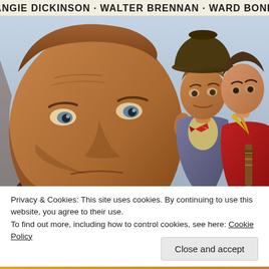[Figure (illustration): Movie poster art showing three men in western/cowboy setting. Large face of older man dominates left foreground. Behind him, a man in a cowboy hat and another younger man in red shirt holding a guitar. Header text reads 'ANGIE DICKINSON · WALTER BRENNAN · WARD BOND'.]
Privacy & Cookies: This site uses cookies. By continuing to use this website, you agree to their use.
To find out more, including how to control cookies, see here: Cookie Policy
Close and accept